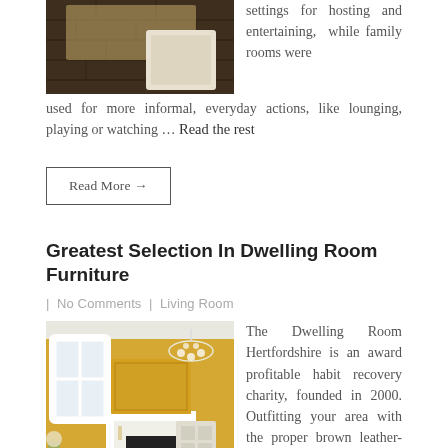[Figure (photo): Photo of a hardwood floor with a rug and a covered piece of furniture]
settings for hosting and entertaining, while family rooms were used for more informal, everyday actions, like lounging, playing or watching … Read the rest
Read More →
Greatest Selection In Dwelling Room Furniture
| No Comments | Living Room
[Figure (photo): Photo of a bright living room with yellow walls, white fireplace mantle, chandelier, and colorful cushions on a sofa]
The Dwelling Room Hertfordshire is an award profitable habit recovery charity, founded in 2000. Outfitting your area with the proper brown leather-based sofa or comfy leather loveseat could make all the